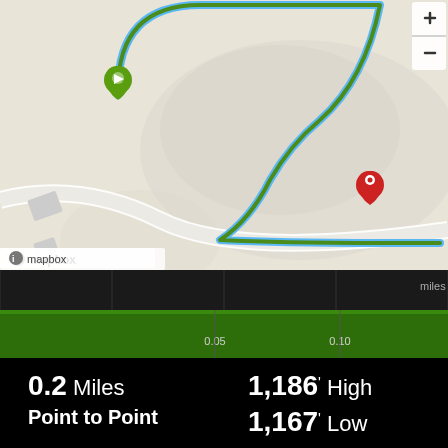[Figure (map): Mapbox map showing a route from a green start pin to a red end pin. The route (green line with blue outline) follows a winding path through a light gray terrain. Map includes zoom controls (+/-) in top right, a layer switcher button, a scale bar showing 100 ft, and a Mapbox attribution at bottom left.]
[Figure (area-chart): Elevation profile chart showing mostly flat green area fill across approximately 0.13 miles distance. X-axis labeled in miles with markers at 0.05 and 0.10.]
0.2 Miles
Point to Point
1,186' High
1,167' Low